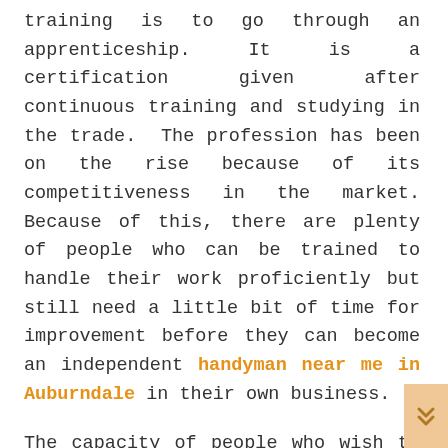training is to go through an apprenticeship. It is a certification given after continuous training and studying in the trade. The profession has been on the rise because of its competitiveness in the market. Because of this, there are plenty of people who can be trained to handle their work proficiently but still need a little bit of time for improvement before they can become an independent handyman near me in Auburndale in their own business.

The capacity of people who wish to take up this profession or craft is typically decided by their dedication and attitude towards it. There are many fantastic hand tools and appliances necessary for doing